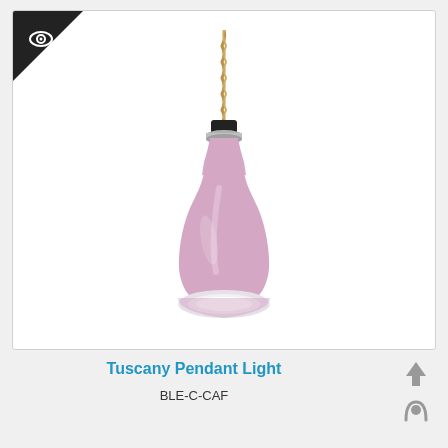[Figure (photo): Pink/mauve glossy pendant light (Tuscany Pendant Light) hanging from a twisted tan/gold cord against a white background. The lamp shade is bottle-shaped, pink with a white interior opening at the bottom, with a black cap and silver ring at the top where the cord attaches. A small corner badge (dark triangle with an eye icon) appears in the top-left of the image card.]
Tuscany Pendant Light
BLE-C-CAF